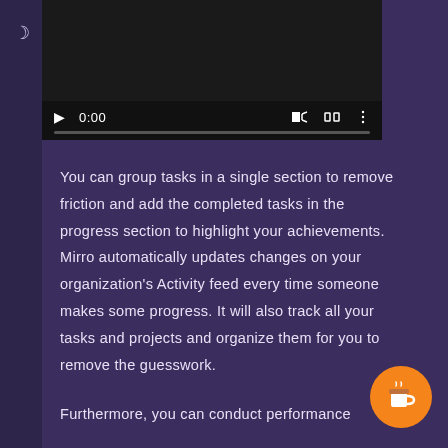[Figure (screenshot): Video player with dark background showing playback controls: play button, time 0:00, volume icon, fullscreen icon, more options icon, and a progress bar at the bottom.]
You can group tasks in a single section to remove friction and add the completed tasks in the progress section to highlight your achievements. Mirro automatically updates changes on your organization's Activity feed every time someone makes some progress. It will also track all your tasks and projects and organize them for you to remove the guesswork.
Furthermore, you can conduct performance